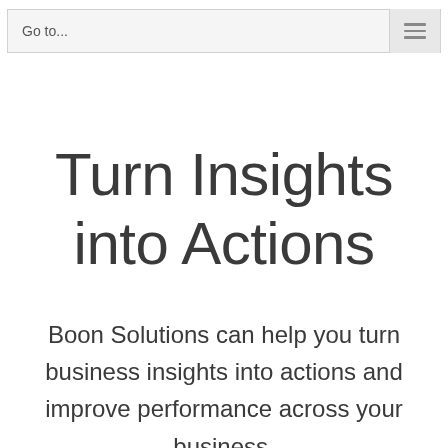Go to...
Turn Insights into Actions
Boon Solutions can help you turn business insights into actions and improve performance across your business.